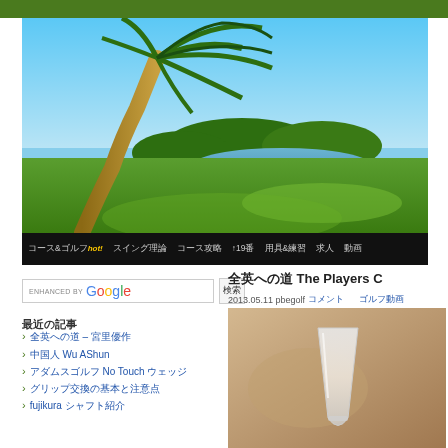[Figure (photo): Golf course header image with palm tree in foreground, green fairway, water hazard, and blue sky]
コース&ゴルフhot! スイング理論 コース攻略 ↑19番 用具&練習 求人 動画
ENHANCED BY Google 検索
全英への道 The Players C
2013.05.11 pbegolf コメント ゴルフ動画
最近の記事
全英への道 – 宮里優作
中国人 Wu AShun
アダムスゴルフ No Touch ウェッジ
グリップ交換の基本と注意点
fujikura シャフト紹介
[Figure (photo): Close-up photo of a glass on blurred background]